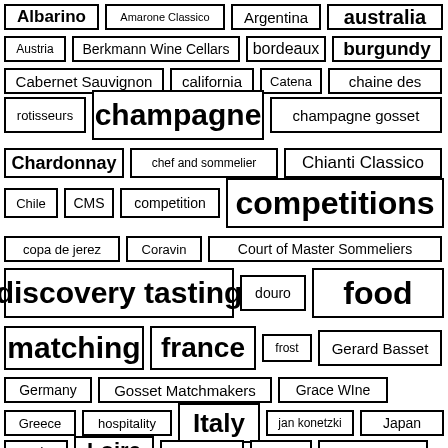[Figure (other): Tag cloud of wine and food related terms in varying font sizes, each word/phrase enclosed in a rectangle border. Terms include: Albarino, Amarone Classico, Argentina, australia, Austria, Berkmann Wine Cellars, bordeaux, burgundy, Cabernet Sauvignon, california, Catena, chaine des rotisseurs, champagne, champagne gosset, Chardonnay, chef and sommelier, Chianti Classico, Chile, CMS, competition, competitions, copa de jerez, Coravin, Court of Master Sommeliers, discovery tasting, douro, food, matching, france, frost, Gerard Basset, Germany, Gosset Matchmakers, Grace WIne, Greece, hospitality, Italy, jan konetzki, Japan, Koshu, Loire, Lombardy, Marche, Martin Codax]